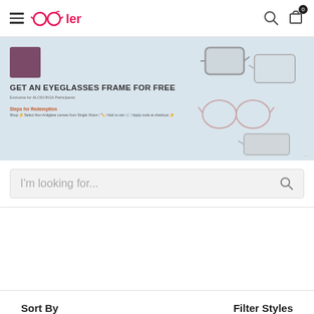lensfit
[Figure (screenshot): Lensfit promotional banner: GET AN EYEGLASSES FRAME FOR FREE. Exclusive for ALODOKGA Participants. Steps for Redemption shown. Background shows multiple eyeglass frames on a light blue background.]
I'm looking for...
Sort By
Filter Styles